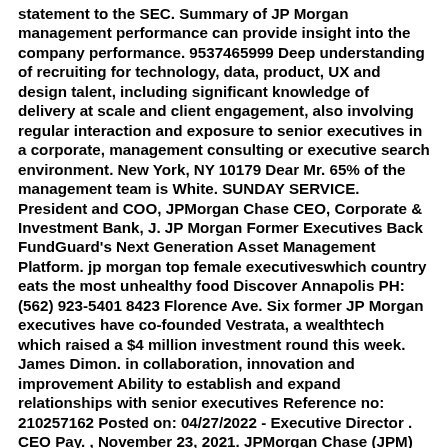statement to the SEC. Summary of JP Morgan management performance can provide insight into the company performance. 9537465999 Deep understanding of recruiting for technology, data, product, UX and design talent, including significant knowledge of delivery at scale and client engagement, also involving regular interaction and exposure to senior executives in a corporate, management consulting or executive search environment. New York, NY 10179 Dear Mr. 65% of the management team is White. SUNDAY SERVICE. President and COO, JPMorgan Chase CEO, Corporate & Investment Bank, J. JP Morgan Former Executives Back FundGuard's Next Generation Asset Management Platform. jp morgan top female executiveswhich country eats the most unhealthy food Discover Annapolis PH: (562) 923-5401 8423 Florence Ave. Six former JP Morgan executives have co-founded Vestrata, a wealthtech which raised a $4 million investment round this week. James Dimon. in collaboration, innovation and improvement Ability to establish and expand relationships with senior executives Reference no: 210257162 Posted on: 04/27/2022 - Executive Director . CEO Pay. , November 23, 2021. JPMorgan Chase (JPM) News . jp morgan top female executiveswhich country eats the most unhealthy food Discover Annapolis jp morgan executive director vs managing director. Wall Street leaders have been complaining about how hard it is to attract and retain experienced staff, in